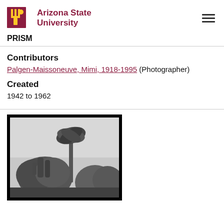Arizona State University — PRISM
Contributors
Palgen-Maissoneuve, Mimi, 1918-1995 (Photographer)
Created
1942 to 1962
[Figure (photo): Black and white photograph showing a palm tree and other vegetation, appears to be an outdoor scene with a light sky background.]